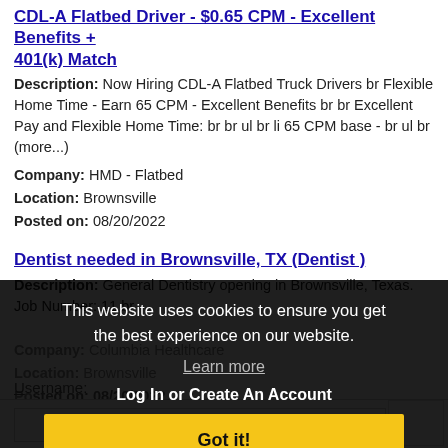CDL-A Flatbed Driver - $0.65 CPM - Excellent Benefits + 401(k) Match
Description: Now Hiring CDL-A Flatbed Truck Drivers br Flexible Home Time - Earn 65 CPM - Excellent Benefits br br Excellent Pay and Flexible Home Time: br br ul br li 65 CPM base - br ul br (more...)
Company: HMD - Flatbed
Location: Brownsville
Posted on: 08/20/2022
Dentist needed in Brownsville, TX (Dentist )
Description: General Dentistry opening in Brownsville, Texas. Job Number: 11 br
Company: Columbia Healthcare
Location: Brownsville
Posted on: 08/20/2022
Loading more jobs...
This website uses cookies to ensure you get the best experience on our website. Learn more Log In or Create An Account Got it!
Username: